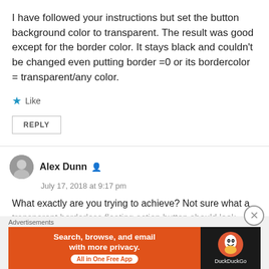I have followed your instructions but set the button background color to transparent. The result was good except for the border color. It stays black and couldn't be changed even putting border =0 or its bordercolor = transparent/any color.
Like
REPLY
Alex Dunn
July 17, 2018 at 9:17 pm
What exactly are you trying to achieve? Not sure what a transparent borderless floating action button should look
Advertisements
[Figure (infographic): DuckDuckGo advertisement banner: orange left section with text 'Search, browse, and email with more privacy. All in One Free App' and dark right section with DuckDuckGo logo and brand name.]